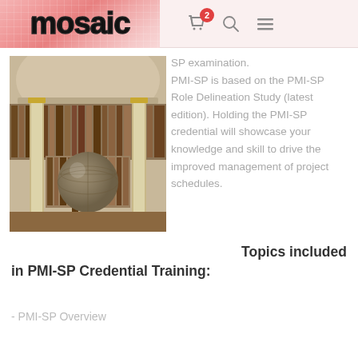mosaic — navigation header with cart (2), search, and menu icons
[Figure (photo): Interior of a grand circular library with tall bookshelves, classical columns, and a large antique globe on a wooden stand in the foreground]
SP examination. PMI-SP is based on the PMI-SP Role Delineation Study (latest edition). Holding the PMI-SP credential will showcase your knowledge and skill to drive the improved management of project schedules.
Topics included in PMI-SP Credential Training:
- PMI-SP Overview